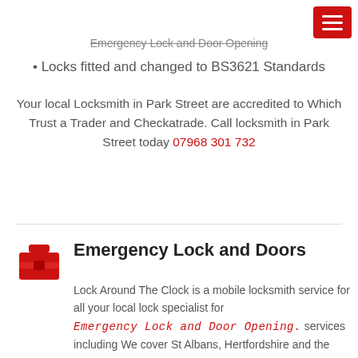Emergency Lock and Door Opening
• Locks fitted and changed to BS3621 Standards
Your local Locksmith in Park Street are accredited to Which Trust a Trader and Checkatrade. Call locksmith in Park Street today 07968 301 732
Emergency Lock and Doors
Lock Around The Clock is a mobile locksmith service for all your local lock specialist for Emergency Lock and Door Opening. services including We cover St Albans, Hertfordshire and the surrounding areas.